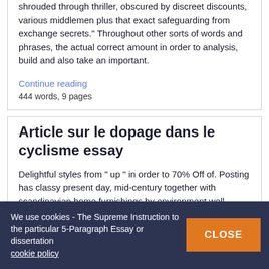shrouded through thriller, obscured by discreet discounts, various middlemen plus that exact safeguarding from exchange secrets." Throughout other sorts of words and phrases, the actual correct amount in order to analysis, build and also take an important.
Continue reading
444 words, 9 pages
Article sur le dopage dans le cyclisme essay
Delightful styles from " up " in order to 70% Off of. Posting has classy present day, mid-century together with scandinavian home furnishings by environment well-known creative designers on obtainable price ranges.
We use cookies - The Supreme Instruction to the particular 5-Paragraph Essay or dissertation cookie policy
CLOSE